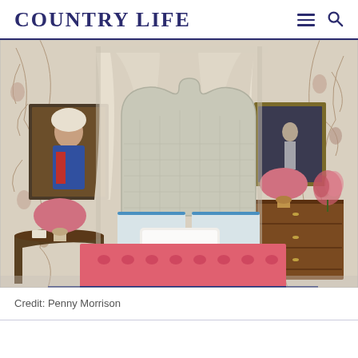COUNTRY LIFE
[Figure (photo): Elegant bedroom with a four-poster canopied bed featuring a scalloped upholstered headboard. The bed has a pink/red patterned throw and decorative pillows. Floral wallpaper covers the walls. Pink lamp shades on bedside tables. A dark wood chest of drawers on the right, two antique oil paintings on the walls, and a vase of flowers on the chest.]
Credit: Penny Morrison